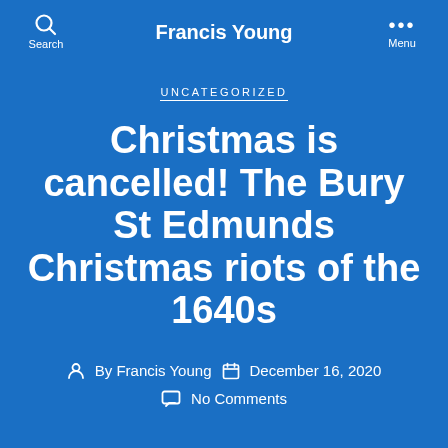Francis Young
UNCATEGORIZED
Christmas is cancelled! The Bury St Edmunds Christmas riots of the 1640s
By Francis Young   December 16, 2020
No Comments